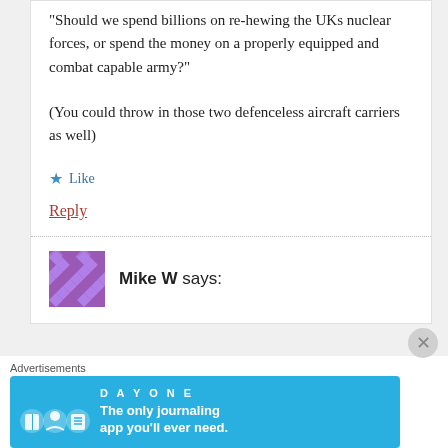“Should we spend billions on re-hewing the UKs nuclear forces, or spend the money on a properly equipped and combat capable army?”
(You could throw in those two defenceless aircraft carriers as well)
★ Like
Reply
Mike W says:
[Figure (other): Advertisement banner: DAY ONE - The only journaling app you'll ever need.]